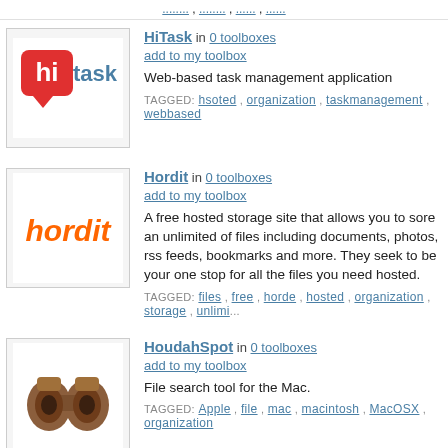... | ... | ... | ...
[Figure (logo): HiTask logo - red 'hi' speech bubble with 'task' text]
HiTask in 0 toolboxes
add to my toolbox
Web-based task management application
TAGGED: hsoted, organization, taskmanagement, webbased
[Figure (logo): Hordit logo - orange stylized text 'hordit']
Hordit in 0 toolboxes
add to my toolbox
A free hosted storage site that allows you to sore an unlimited of files including documents, photos, rss feeds, bookmarks and more. They seek to be your one stop for all the files you need hosted.
TAGGED: files, free, horde, hosted, organization, storage, unlimi...
[Figure (logo): HoudahSpot logo - brown binoculars icon]
HoudahSpot in 0 toolboxes
add to my toolbox
File search tool for the Mac.
TAGGED: Apple, file, mac, macintosh, MacOSX, organization
[Figure (screenshot): Index Your Files screenshot thumbnail]
Index Your Files in 0 toolboxes
add to my toolbox
Index and Search through all your files or folders on Local or